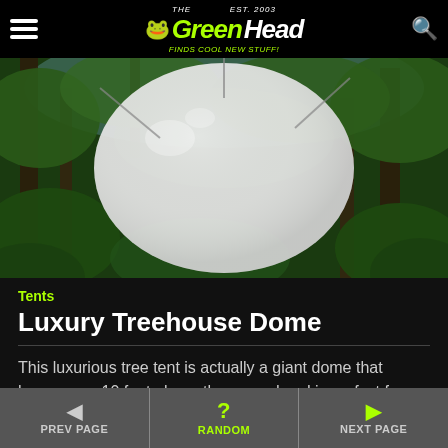The Green Head - Finds Cool New Stuff!
[Figure (photo): A large white spherical dome tent hanging in a lush green forest, viewed from below looking up through the tree canopy.]
Tents
Luxury Treehouse Dome
This luxurious tree tent is actually a giant dome that hangs over 10 feet above the ground and is perfect for camping, relaxing, or just escaping.
PREV PAGE | RANDOM | NEXT PAGE